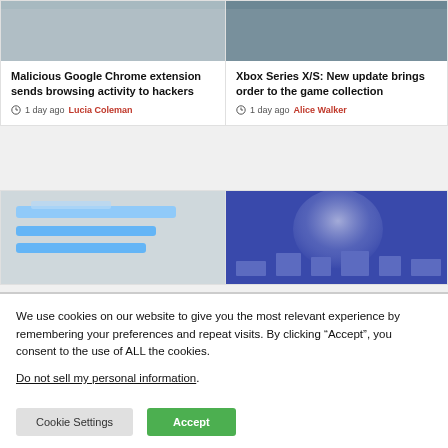[Figure (photo): Top portion of article card image for Malicious Google Chrome extension article (light gray)]
[Figure (photo): Top portion of article card image for Xbox Series X/S article (dark gray)]
Malicious Google Chrome extension sends browsing activity to hackers
1 day ago  Lucia Coleman
Xbox Series X/S: New update brings order to the game collection
1 day ago  Alice Walker
[Figure (photo): Bottom left article card image showing a mobile/app interface with blue elements]
[Figure (photo): Bottom right article card image showing a purple/indigo abstract background with city lights]
We use cookies on our website to give you the most relevant experience by remembering your preferences and repeat visits. By clicking “Accept”, you consent to the use of ALL the cookies.
Do not sell my personal information.
Cookie Settings
Accept